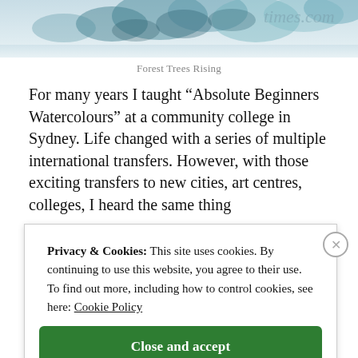[Figure (illustration): Top portion of a watercolour painting of forest trees with blue-green foliage, partially visible, cropped at the top of the page.]
Forest Trees Rising
For many years I taught “Absolute Beginners Watercolours”  at a community college in Sydney. Life changed with a series of multiple international transfers.  However, with those exciting transfers to new  cities, art centres, colleges,  I heard the same thing
Privacy & Cookies: This site uses cookies. By continuing to use this website, you agree to their use.
To find out more, including how to control cookies, see here: Cookie Policy
Close and accept